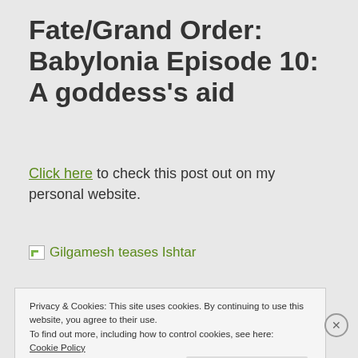Fate/Grand Order: Babylonia Episode 10: A goddess's aid
Click here to check this post out on my personal website.
[Figure (photo): Broken image placeholder with alt text: Gilgamesh teases Ishtar]
Privacy & Cookies: This site uses cookies. By continuing to use this website, you agree to their use.
To find out more, including how to control cookies, see here:
Cookie Policy
Close and accept